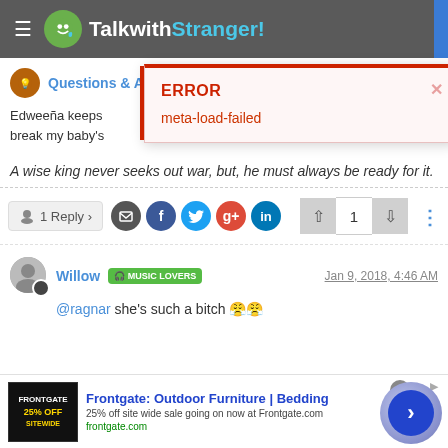TalkwithStranger!
Questions & A
ERROR
meta-load-failed
Edweeña keeps... break my baby's
A wise king never seeks out war, but, he must always be ready for it.
1 Reply >
Willow  MUSIC LOVERS  Jan 9, 2018, 4:46 AM
@ragnar she's such a bitch 😤😤
Frontgate: Outdoor Furniture | Bedding
25% off site wide sale going on now at Frontgate.com
frontgate.com